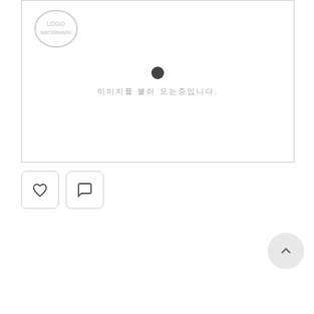[Figure (illustration): Product image placeholder with loading spinner dot and Korean loading text '이미지를 불러 오는중입니다.' and watermark logo in top-left corner.]
[Figure (other): Two icon buttons: heart (favorite) and speech bubble (comment), each in a rounded rectangle border.]
| 부품번호 | PC452TJ0000F |
| 제조업체 | Sharp Microelectronics |
| 분류 | Optoisolators - Transistor, Photovoltaic Output |
| RoHS | 🌿 |